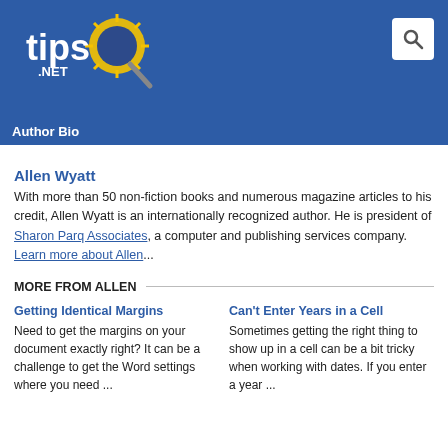tips.NET
Author Bio
Allen Wyatt
With more than 50 non-fiction books and numerous magazine articles to his credit, Allen Wyatt is an internationally recognized author. He is president of Sharon Parq Associates, a computer and publishing services company. Learn more about Allen...
MORE FROM ALLEN
Getting Identical Margins
Need to get the margins on your document exactly right? It can be a challenge to get the Word settings where you need ...
Can't Enter Years in a Cell
Sometimes getting the right thing to show up in a cell can be a bit tricky when working with dates. If you enter a year ...